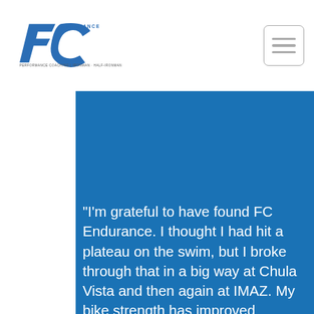[Figure (logo): FC Endurance logo with stylized blue FC letters and text 'PERFORMANCE COACHING | IRONMAN · HALF-IRONMAN']
"I'm grateful to have found FC Endurance. I thought I had hit a plateau on the swim, but I broke through that in a big way at Chula Vista and then again at IMAZ. My bike strength has improved greatly, as has my running speed. Thank you. Your coaching efficiently